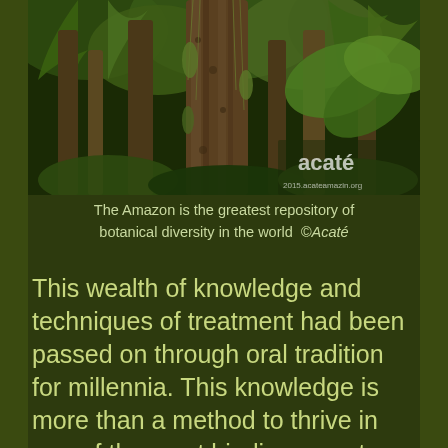[Figure (photo): A photograph of Amazon rainforest trees with dense tropical foliage, tall palm trees and large-leafed plants. The Acate logo and watermark '2015.acateamazin.org' appear in the lower right corner.]
The Amazon is the greatest repository of botanical diversity in the world  ©Acaté
This wealth of knowledge and techniques of treatment had been passed on through oral tradition for millennia. This knowledge is more than a method to thrive in one of the most biodiverse yet difficult ecosystems on the planet, it is a realization of their deep spiritual and physical ties to the natural world. Throughout the world so much traditional